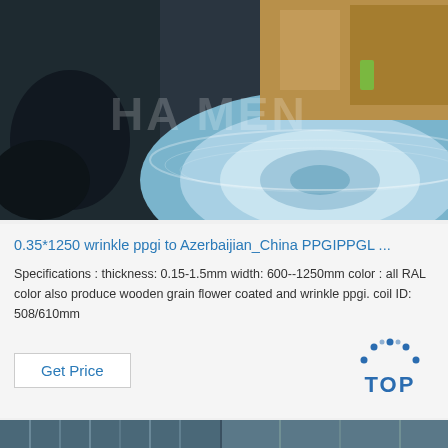[Figure (photo): Industrial warehouse photo showing large rolls/coils of PPGI (pre-painted galvanized iron) steel with blue/silver metallic finish, with watermark text overlay]
0.35*1250 wrinkle ppgi to Azerbaijian_China PPGIPPGL ...
Specifications : thickness: 0.15-1.5mm width: 600--1250mm color : all RAL color also produce wooden grain flower coated and wrinkle ppgi. coil ID: 508/610mm
[Figure (logo): TOP logo with dot pattern arranged in triangle/arc above the letters TOP in blue]
Get Price
[Figure (photo): Partial bottom strip showing industrial/steel processing equipment]